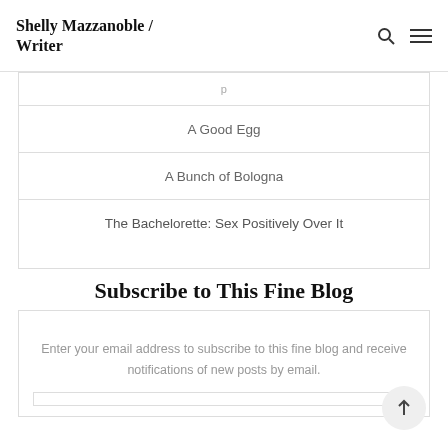Shelly Mazzanoble / Writer
A Good Egg
A Bunch of Bologna
The Bachelorette: Sex Positively Over It
Subscribe to This Fine Blog
Enter your email address to subscribe to this fine blog and receive notifications of new posts by email.